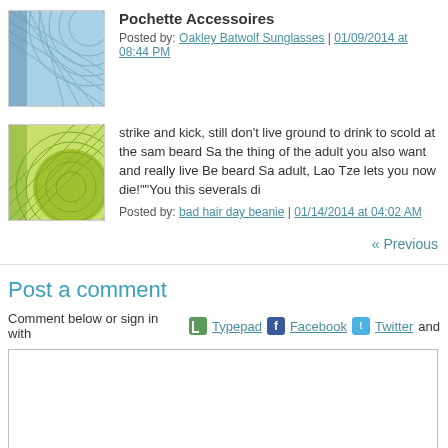[Figure (illustration): Blue avatar image with abstract line pattern]
Pochette Accessoires
Posted by: Oakley Batwolf Sunglasses | 01/09/2014 at 08:44 PM
[Figure (illustration): Green/yellow avatar image with abstract circle and line pattern]
strike and kick, still don't live ground to drink to scold at the sam beard Sa the thing of the adult you also want and really live Be beard Sa adult, Lao Tze lets you now die!""You this severals di
Posted by: bad hair day beanie | 01/14/2014 at 04:02 AM
« Previous
Post a comment
Comment below or sign in with Typepad Facebook Twitter and
[Figure (screenshot): Comment text area input box]